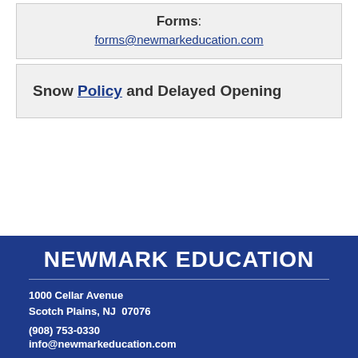Forms: forms@newmarkeducation.com
Snow Policy and Delayed Opening
NEWMARK EDUCATION
1000 Cellar Avenue
Scotch Plains, NJ  07076
(908) 753-0330
info@newmarkeducation.com